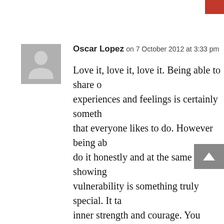Oscar Lopez on 7 October 2012 at 3:33 pm
Love it, love it, love it. Being able to share our experiences and feelings is certainly something that everyone likes to do. However being able to do it honestly and at the same time showing vulnerability is something truly special. It takes inner strength and courage. You make us all... Your words inspire and remains us that obstacles are but challenges to be overcome. That perseverance and hard work are tools to help with our internal struggles and find our way to become better people. You are full of surprises your parents have to well. Yet somehow you've done better. Keep at it.